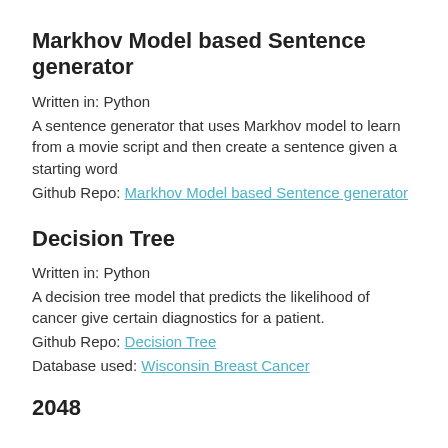Markhov Model based Sentence generator
Written in: Python
A sentence generator that uses Markhov model to learn from a movie script and then create a sentence given a starting word
Github Repo: Markhov Model based Sentence generator
Decision Tree
Written in: Python
A decision tree model that predicts the likelihood of cancer give certain diagnostics for a patient.
Github Repo: Decision Tree
Database used: Wisconsin Breast Cancer
2048